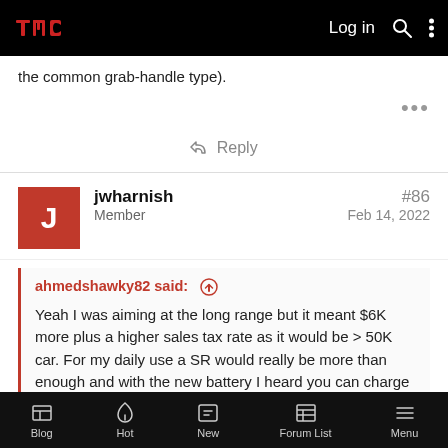TMC forum header with Log in, search, and menu options
the common grab-handle type).
...
↩ Reply
jwharnish
Member
#86
Feb 14, 2022
ahmedshawky82 said: ↑

Yeah I was aiming at the long range but it meant $6K more plus a higher sales tax rate as it would be > 50K car. For my daily use a SR would really be more than enough and with the new battery I heard you can charge daily to 100% with no problem so actually getting more range. The AWD option is
Blog | Hot | New | Forum List | Menu